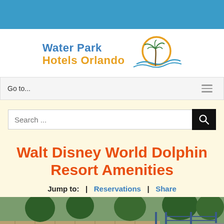[Figure (logo): Water Park Hotels Orlando logo with palm tree, sun circle, and wave]
Go to...
Search ...
Walt Disney World Dolphin Resort Amenities
Jump to:  |  Reservations  |  Share
[Figure (photo): Outdoor photo of the Walt Disney World Dolphin Resort area showing stone wall, palm trees, and gate]